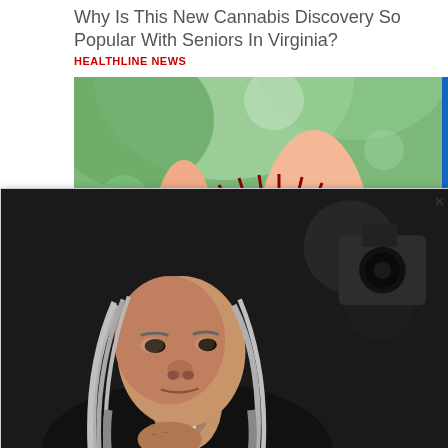Why Is This New Cannabis Discovery So Popular With Seniors In Virginia?
HEALTHLINE NEWS
[Figure (photo): Hand holding a red spiky fruit (rambutan) against a green leafy background]
[Figure (photo): Popup overlay showing an elderly man (Willie Nelson) with long gray hair and beard, looking contemplative, with a camera visible in background]
A Tragic End Today For Willie Nelson
[Figure (photo): Small thumbnail image showing crosses/gravestones against a desert mountain landscape]
o Believes In Vatch This. It r Mind
Promoted ×